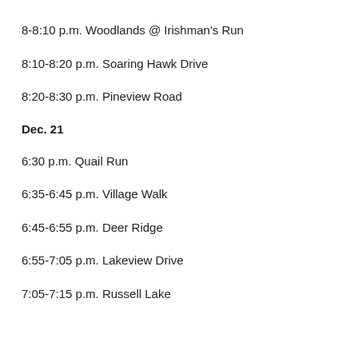8-8:10 p.m. Woodlands @ Irishman's Run
8:10-8:20 p.m. Soaring Hawk Drive
8:20-8:30 p.m. Pineview Road
Dec. 21
6:30 p.m. Quail Run
6:35-6:45 p.m. Village Walk
6:45-6:55 p.m. Deer Ridge
6:55-7:05 p.m. Lakeview Drive
7:05-7:15 p.m. Russell Lake